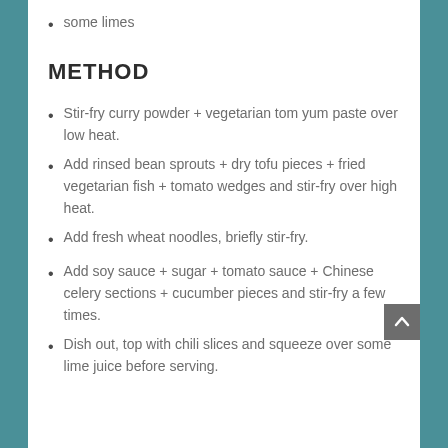some limes
METHOD
Stir-fry curry powder + vegetarian tom yum paste over low heat.
Add rinsed bean sprouts + dry tofu pieces + fried vegetarian fish + tomato wedges and stir-fry over high heat.
Add fresh wheat noodles, briefly stir-fry.
Add soy sauce + sugar + tomato sauce + Chinese celery sections + cucumber pieces and stir-fry a few times.
Dish out, top with chili slices and squeeze over some lime juice before serving.